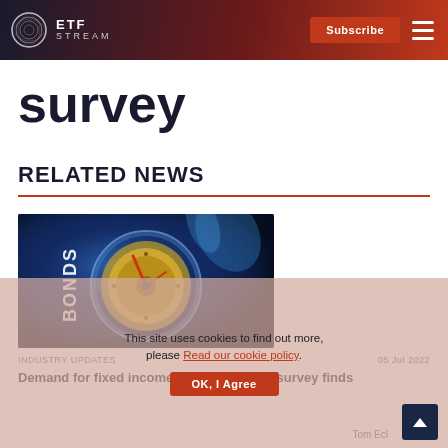ETF STREAM — Subscribe
survey
RELATED NEWS
[Figure (photo): Close-up of a roulette-style wheel with the word BONDS visible, blue-toned dramatic lighting suggesting financial risk.]
This site uses cookies to find out more, please Read our cookie policy.
OK, I Agree
INDUSTRY UPDATES   05 Jul 2022
Demand for fixed income ETFs declining, survey finds
Tom Ecl…